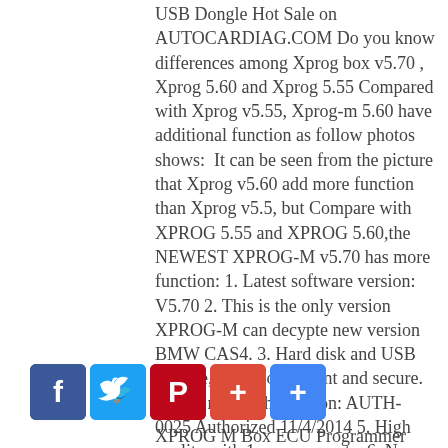USB Dongle Hot Sale on AUTOCARDIAG.COM Do you know differences among Xprog box v5.70 , Xprog 5.60 and Xprog 5.55 Compared with Xprog v5.55, Xprog-m 5.60 have additional function as follow photos shows:  It can be seen from the picture that Xprog v5.60 add more function than Xprog v5.5, but Compare with XPROG 5.55 and XPROG 5.60,the NEWEST XPROG-M v5.70 has more function: 1. Latest software version: V5.70 2. This is the only version XPROG-M can decypte new version BMW CAS4. 3. Hard disk and USB Dongle, more convenient and secure. 4. Add new authorization: AUTH-0025 Authorized 11/4/2014 5. High quality with 1 year warranty. 6. No operation system limitation, software can be installed Win XP, and Win 7 V5.70 XPROG M Box ECU Programmer